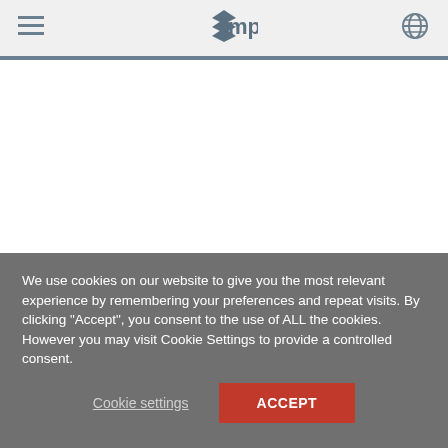MP (logo with hamburger menu and globe icon)
[Figure (other): White content area below navigation header]
We use cookies on our website to give you the most relevant experience by remembering your preferences and repeat visits. By clicking "Accept", you consent to the use of ALL the cookies. However you may visit Cookie Settings to provide a controlled consent.
Cookie settings   ACCEPT